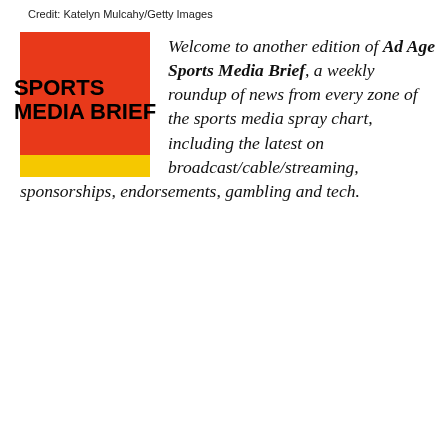Credit: Katelyn Mulcahy/Getty Images
[Figure (logo): Sports Media Brief logo: red square with black bold text 'SPORTS MEDIA BRIEF' and yellow bar at bottom]
Welcome to another edition of Ad Age Sports Media Brief, a weekly roundup of news from every zone of the sports media spray chart, including the latest on broadcast/cable/streaming, sponsorships, endorsements, gambling and tech.